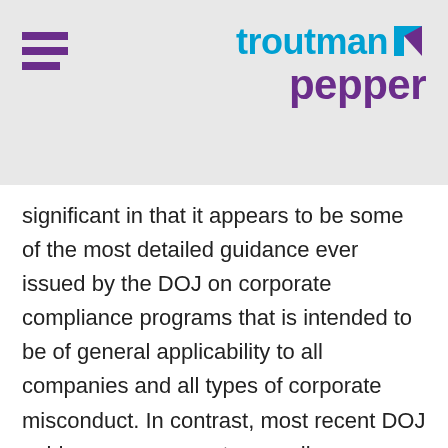troutman pepper
significant in that it appears to be some of the most detailed guidance ever issued by the DOJ on corporate compliance programs that is intended to be of general applicability to all companies and all types of corporate misconduct. In contrast, most recent DOJ guidance on corporate compliance programs has been focused specifically on FCPA matters.
Second, new U.S. Attorney General Jefferson B. Sessions III was confirmed by the U.S. Senate at 7:23 p.m. on the same